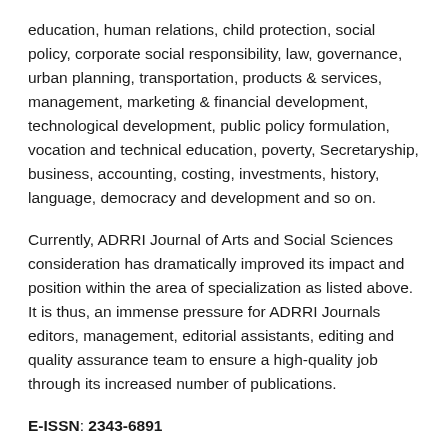education, human relations, child protection, social policy, corporate social responsibility, law, governance, urban planning, transportation, products & services, management, marketing & financial development, technological development, public policy formulation, vocation and technical education, poverty, Secretaryship, business, accounting, costing, investments, history, language, democracy and development and so on.
Currently, ADRRI Journal of Arts and Social Sciences consideration has dramatically improved its impact and position within the area of specialization as listed above. It is thus, an immense pressure for ADRRI Journals editors, management, editorial assistants, editing and quality assurance team to ensure a high-quality job through its increased number of publications.
E-ISSN: 2343-6891